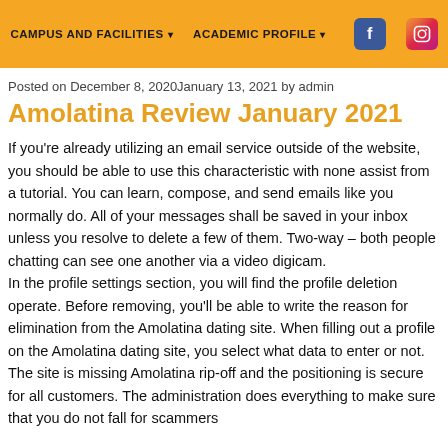CAMPUS AND FACILITIES ▾   ACADEMIC PROFILE ▾
Posted on December 8, 2020January 13, 2021 by admin
Amolatina Review January 2021
If you're already utilizing an email service outside of the website, you should be able to use this characteristic with none assist from a tutorial. You can learn, compose, and send emails like you normally do. All of your messages shall be saved in your inbox unless you resolve to delete a few of them. Two-way – both people chatting can see one another via a video digicam. In the profile settings section, you will find the profile deletion operate. Before removing, you'll be able to write the reason for elimination from the Amolatina dating site. When filling out a profile on the Amolatina dating site, you select what data to enter or not. The site is missing Amolatina rip-off and the positioning is secure for all customers. The administration does everything to make sure that you do not fall for scammers